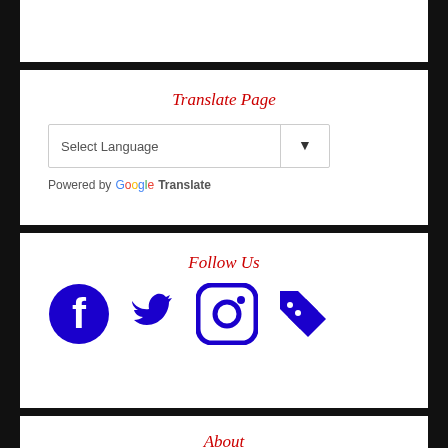Translate Page
[Figure (screenshot): Google Translate widget with Select Language dropdown and Powered by Google Translate label]
Follow Us
[Figure (illustration): Social media icons: Facebook, Twitter, Instagram, and a links icon, all in blue]
About
The Newark Police Department provides 24-hour law